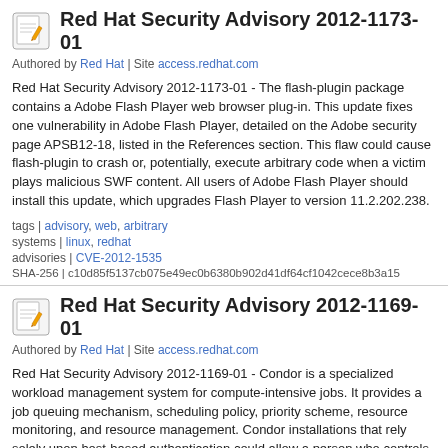Red Hat Security Advisory 2012-1173-01
Authored by Red Hat | Site access.redhat.com
Red Hat Security Advisory 2012-1173-01 - The flash-plugin package contains a Adobe Flash Player web browser plug-in. This update fixes one vulnerability in Adobe Flash Player, detailed on the Adobe security page APSB12-18, listed in the References section. This flaw could cause flash-plugin to crash or, potentially, execute arbitrary code when a victim plays malicious SWF content. All users of Adobe Flash Player should install this update, which upgrades Flash Player to version 11.2.202.238.
tags | advisory, web, arbitrary
systems | linux, redhat
advisories | CVE-2012-1535
SHA-256 | c10d85f5137cb075e49ec0b6380b902d41df64cf1042cece8b3a15...
Red Hat Security Advisory 2012-1169-01
Authored by Red Hat | Site access.redhat.com
Red Hat Security Advisory 2012-1169-01 - Condor is a specialized workload management system for compute-intensive jobs. It provides a job queuing mechanism, scheduling policy, priority scheme, resource monitoring, and resource management. Condor installations that rely solely upon host-based authentication could allow a person who controls an IP, its reverse-DNS entry and has knowledge of a target site's Condor configuration, the attacker could bypass the target site's host-based authentication and submit or remove jobs and perform other privileged actions. Condor deployments using host-based authentication that...